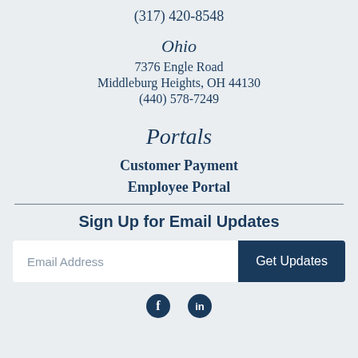(317) 420-8548
Ohio
7376 Engle Road
Middleburg Heights, OH 44130
(440) 578-7249
Portals
Customer Payment
Employee Portal
Sign Up for Email Updates
Email Address
Get Updates
[Figure (other): Social media icons (Facebook, LinkedIn) partially visible at the bottom of the page]